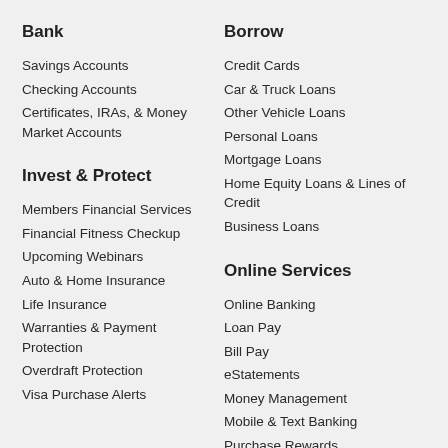Bank
Savings Accounts
Checking Accounts
Certificates, IRAs, & Money Market Accounts
Borrow
Credit Cards
Car & Truck Loans
Other Vehicle Loans
Personal Loans
Mortgage Loans
Home Equity Loans & Lines of Credit
Business Loans
Invest & Protect
Members Financial Services
Financial Fitness Checkup
Upcoming Webinars
Auto & Home Insurance
Life Insurance
Warranties & Payment Protection
Overdraft Protection
Visa Purchase Alerts
Online Services
Online Banking
Loan Pay
Bill Pay
eStatements
Money Management
Mobile & Text Banking
Purchase Rewards
Remote Deposit
Move Your Money